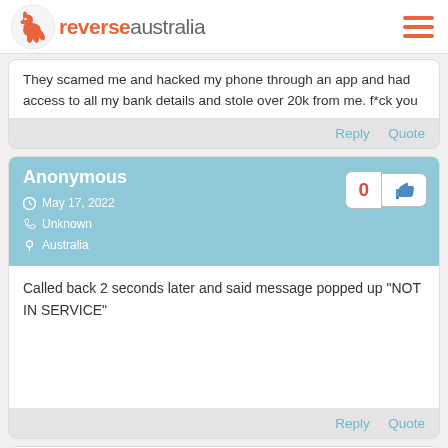reverseaustralia
They scamed me and hacked my phone through an app and had access to all my bank details and stole over 20k from me. f*ck you
Reply  Quote
Anonymous
May 17, 2022
Unknown
Australia
Called back 2 seconds later and said message popped up "NOT IN SERVICE"
Reply  Quote